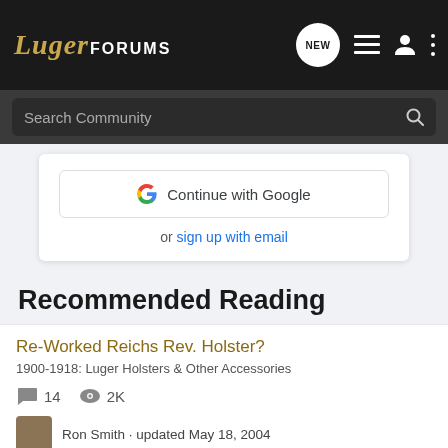LugerFORUMS
Search Community
Continue with Google
or sign up with email
Recommended Reading
Re-Worked Reichs Rev. Holster?
1900-1918: Luger Holsters & Other Accessories
14  2K
Ron Smith · updated May 18, 2004